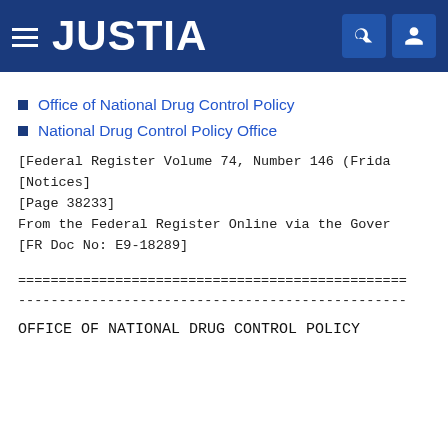JUSTIA
Office of National Drug Control Policy
National Drug Control Policy Office
[Federal Register Volume 74, Number 146 (Frida
[Notices]
[Page 38233]
From the Federal Register Online via the Gover
[FR Doc No: E9-18289]
==============================================
----------------------------------------------
OFFICE OF NATIONAL DRUG CONTROL POLICY